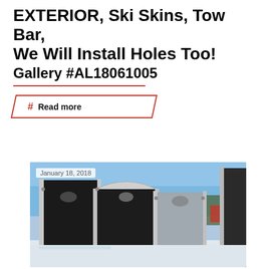EXTERIOR, Ski Skins, Tow Bar, We Will Install Holes Too!
Gallery #AL18061005
Read more
[Figure (photo): Exterior aluminum trailer panels/skins displayed outdoors in winter, with blue sky background. Date overlay: January 18, 2018.]